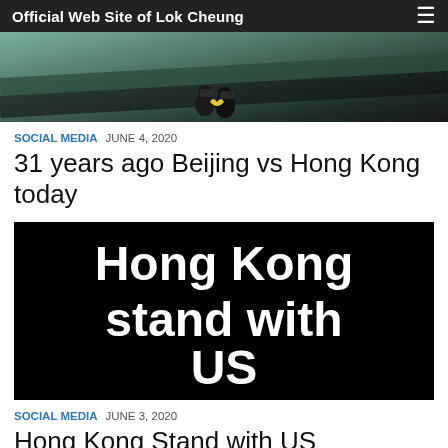Official Web Site of Lok Cheung
[Figure (illustration): Partial hero image showing a stylized illustration with dark and teal tones, possibly figures or a scene.]
SOCIAL MEDIA  JUNE 4, 2020
31 years ago Beijing vs Hong Kong today
[Figure (photo): Black background image with large white bold text reading: Hong Kong stand with US]
SOCIAL MEDIA  JUNE 3, 2020
Hong Kong Stand with US